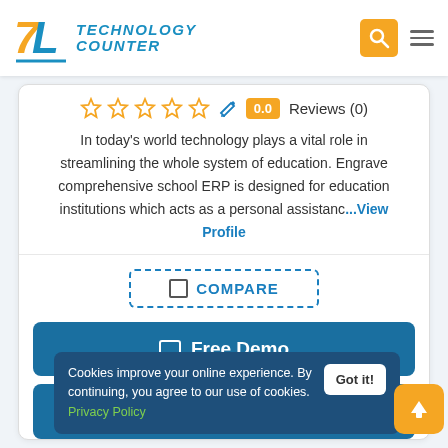[Figure (logo): Technology Counter logo with stylized TC icon and text]
Reviews (0) — 0.0 score badge, 5 star outlines, edit icon
In today's world technology plays a vital role in streamlining the whole system of education. Engrave comprehensive school ERP is designed for education institutions which acts as a personal assistanc...View Profile
☐ COMPARE
🖥 Free Demo
₹ Get Pricing
Cookies improve your online experience. By continuing, you agree to our use of cookies. Privacy Policy
Got it!